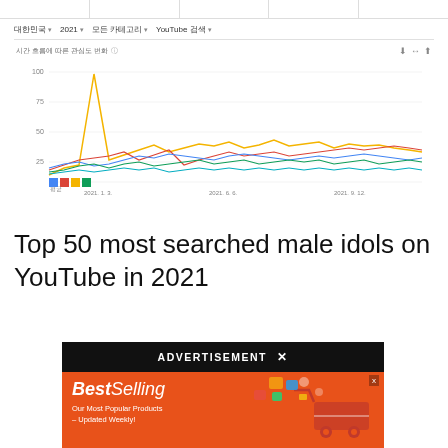[Figure (screenshot): Google Trends line chart screenshot showing search interest over time for top 50 most searched male idols on YouTube in 2021, with Korean language UI filters (대한민국, 2021, 모든 카테고리, YouTube 검색). Multiple colored lines (blue, red, yellow, green) plotted over weekly intervals in 2021. Yellow line shows a large spike around early 2021.]
Top 50 most searched male idols on YouTube in 2021
[Figure (screenshot): Advertisement overlay with black banner reading 'ADVERTISEMENT ✕' and an AliExpress orange ad below showing 'Best Selling - Our Most Popular Products – Updated Weekly!' with a shopping cart graphic and 'Shop Now ›' button.]